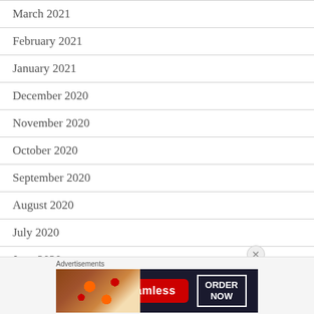March 2021
February 2021
January 2021
December 2020
November 2020
October 2020
September 2020
August 2020
July 2020
June 2020
[Figure (infographic): Seamless food delivery advertisement banner with pizza image, Seamless logo in red, and ORDER NOW button.]